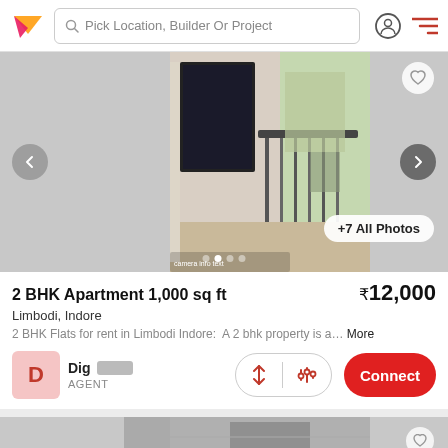Pick Location, Builder Or Project
[Figure (photo): Interior photo of apartment balcony/corridor area with natural light, dark window frame on left, railing on right, and street view outside. Navigation arrows on left and right. Heart icon top right. +7 All Photos button bottom right. Dot indicators at bottom.]
2 BHK Apartment 1,000 sq ft
₹12,000
Limbodi, Indore
2 BHK Flats for rent in Limbodi Indore:  A 2 bhk property is a… More
D  Dig [redacted]  AGENT
[Figure (photo): Bottom portion of next property listing visible — grey image preview with heart icon at top right corner.]